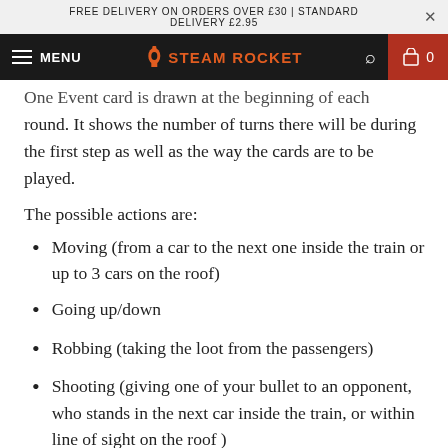FREE DELIVERY ON ORDERS OVER £30 | STANDARD DELIVERY £2.95
MENU | Steam Rocket | 0
One Event card is drawn at the beginning of each round. It shows the number of turns there will be during the first step as well as the way the cards are to be played.
The possible actions are:
Moving (from a car to the next one inside the train or up to 3 cars on the roof)
Going up/down
Robbing (taking the loot from the passengers)
Shooting (giving one of your bullet to an opponent, who stands in the next car inside the train, or within line of sight on the roof )